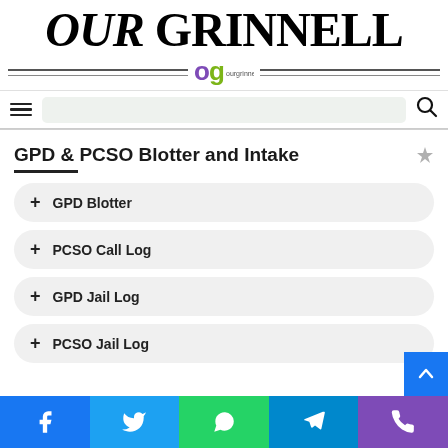OUR GRINNELL — ourgrinnell.com
GPD & PCSO Blotter and Intake
+ GPD Blotter
+ PCSO Call Log
+ GPD Jail Log
+ PCSO Jail Log
Facebook | Twitter | WhatsApp | Telegram | Phone